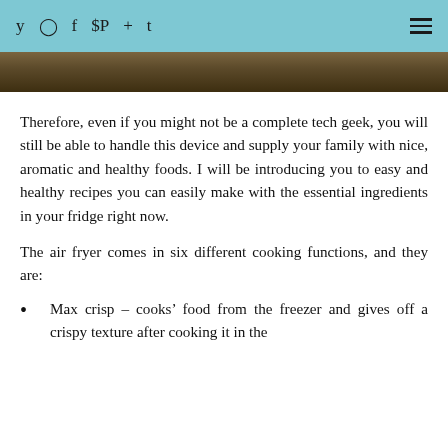y © f ® + t  ☰
[Figure (photo): Partial view of a food or textured surface photograph, brown earthy tones]
Therefore, even if you might not be a complete tech geek, you will still be able to handle this device and supply your family with nice, aromatic and healthy foods. I will be introducing you to easy and healthy recipes you can easily make with the essential ingredients in your fridge right now.
The air fryer comes in six different cooking functions, and they are:
Max crisp – cooks' food from the freezer and gives off a crispy texture after cooking it in the